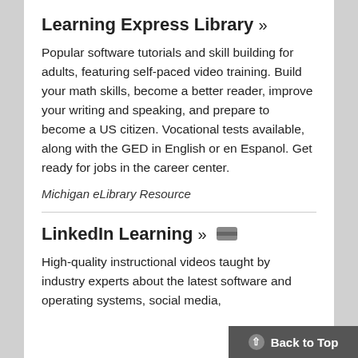Learning Express Library »
Popular software tutorials and skill building for adults, featuring self-paced video training. Build your math skills, become a better reader, improve your writing and speaking, and prepare to become a US citizen. Vocational tests available, along with the GED in English or en Espanol. Get ready for jobs in the career center.
Michigan eLibrary Resource
LinkedIn Learning »
High-quality instructional videos taught by industry experts about the latest software and operating systems, social media, skills, and more.
Back to Top